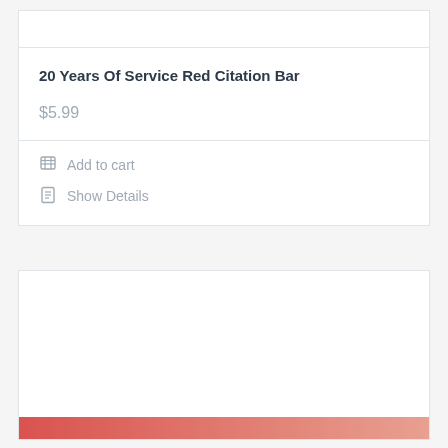20 Years Of Service Red Citation Bar
$5.99
Add to cart
Show Details
[Figure (other): Product image card area with a red/salmon gradient bar at the bottom, white space above]